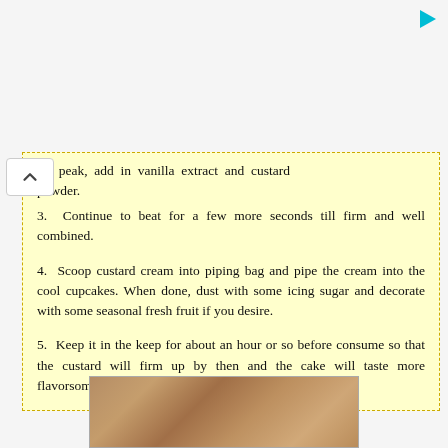oft peak, add in vanilla extract and custard powder.
3.  Continue to beat for a few more seconds till firm and well combined.
4.  Scoop custard cream into piping bag and pipe the cream into the cool cupcakes. When done, dust with some icing sugar and decorate with some seasonal fresh fruit if you desire.
5.  Keep it in the keep for about an hour or so before consume so that the custard will firm up by then and the cake will taste more flavorsome.
[Figure (photo): Bottom portion of a photo showing what appears to be a baked good or cupcake, partially visible at the bottom of the page.]